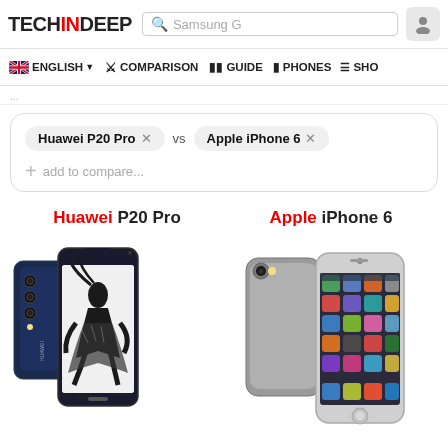TECHINDEEP — Samsung G (search) — user icon
ENGLISH | COMPARISON | GUIDE | PHONES | SHO
Huawei P20 Pro × vs Apple iPhone 6 × | + add to compare...
Huawei P20 Pro — Apple iPhone 6
[Figure (photo): Two smartphones shown side by side: Huawei P20 Pro (left, dark blue) and Apple iPhone 6 (right, space gray), product images]